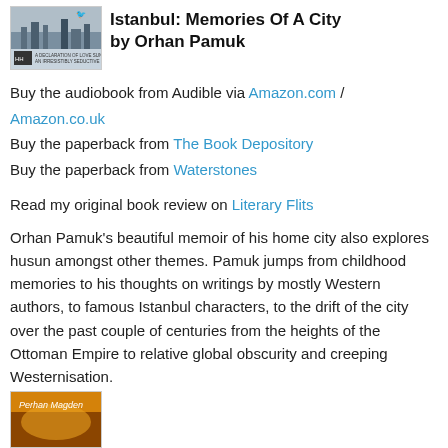[Figure (illustration): Book cover of Istanbul: Memories Of A City by Orhan Pamuk, showing a dark cityscape image with publisher logo]
Istanbul: Memories Of A City by Orhan Pamuk
Buy the audiobook from Audible via Amazon.com / Amazon.co.uk
Buy the paperback from The Book Depository
Buy the paperback from Waterstones
Read my original book review on Literary Flits
Orhan Pamuk’s beautiful memoir of his home city also explores husun amongst other themes. Pamuk jumps from childhood memories to his thoughts on writings by mostly Western authors, to famous Istanbul characters, to the drift of the city over the past couple of centuries from the heights of the Ottoman Empire to relative global obscurity and creeping Westernisation.
[Figure (illustration): Bottom portion of another book cover showing 'Perhan Magden' text with orange/fiery background]